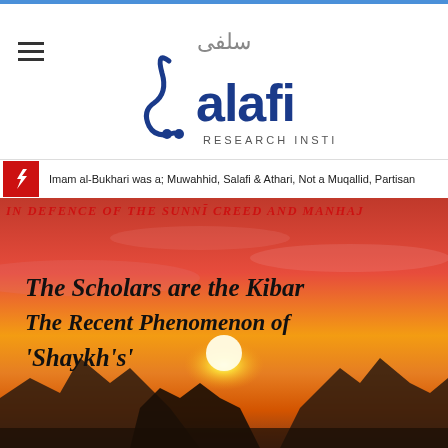[Figure (logo): Salafi Research Institute logo with Arabic script and stylized 'Salafi' text in blue with two dots]
Imam al-Bukhari was a; Muwahhid, Salafi & Athari, Not a Muqallid, Partisan
[Figure (photo): Sunset landscape with mountains and orange/red sky. Overlaid text reads: 'IN DEFENCE OF THE SUNNI CREED AND MANHAJ' in red italic at top, then 'The Scholars are the Kibar', 'The Recent Phenomenon of', and ''Shaykh's'' in bold italic black text.]
The Scholars are the Kibar
The Recent Phenomenon of
'Shaykh's'